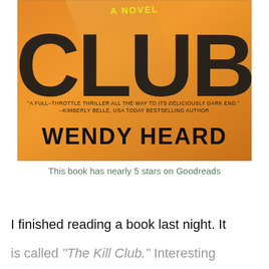[Figure (illustration): Book cover of 'The Kill Club' by Wendy Heard. Large bold black letters spelling 'CLUB' on an orange background with texture. Yellow text at top reads 'A Novel'. A blurb reads: 'A full-throttle thriller all the way to its deliciously dark end.' -Kimberly Belle, USA Today Bestselling Author. Author name 'WENDY HEARD' in large bold black letters at the bottom.]
This book has nearly 5 stars on Goodreads
I finished reading a book last night. It
is called “The Kill Club.” Interesting